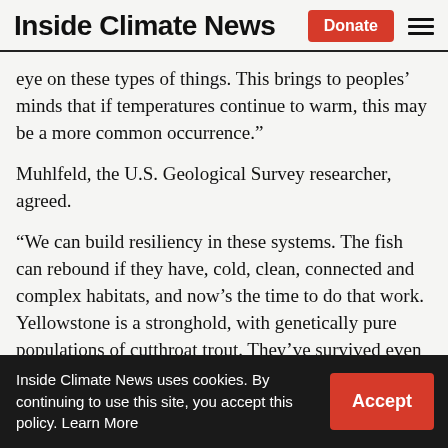Inside Climate News
eye on these types of things. This brings to peoples’ minds that if temperatures continue to warm, this may be a more common occurrence.”
Muhlfeld, the U.S. Geological Survey researcher, agreed.
“We can build resiliency in these systems. The fish can rebound if they have, cold, clean, connected and complex habitats, and now’s the time to do that work. Yellowstone is a stronghold, with genetically pure populations of cutthroat trout. They’ve survived even
Inside Climate News uses cookies. By continuing to use this site, you accept this policy. Learn More